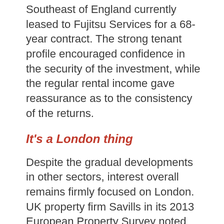Southeast of England currently leased to Fujitsu Services for a 68-year contract. The strong tenant profile encouraged confidence in the security of the investment, while the regular rental income gave reassurance as to the consistency of the returns.
It's a London thing
Despite the gradual developments in other sectors, interest overall remains firmly focused on London. UK property firm Savills in its 2013 European Property Survey noted that the volume invested in UK grew by 12.5% over 2012 to EUR44 billion (US$57.3 billion), amounting to 38% of total commercial investment volume across the